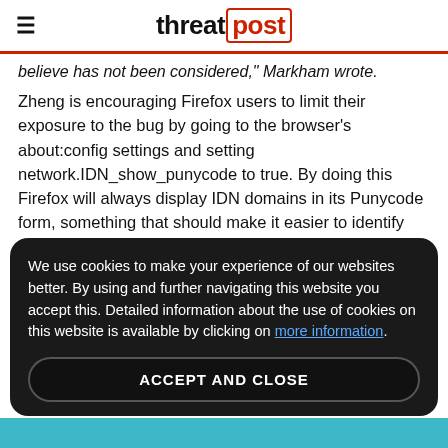threat post
believe has not been considered," Markham wrote.
Zheng is encouraging Firefox users to limit their exposure to the bug by going to the browser's about:config settings and setting network.IDN_show_punycode to true. By doing this Firefox will always display IDN domains in its Punycode form, something that should make it easier to identify malicious domains, the researcher claims.
We use cookies to make your experience of our websites better. By using and further navigating this website you accept this. Detailed information about the use of cookies on this website is available by clicking on more information.
ACCEPT AND CLOSE